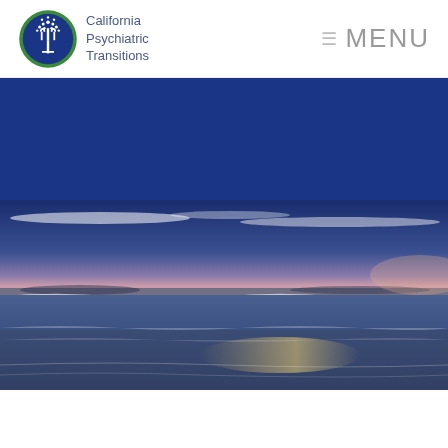California Psychiatric Transitions — MENU
[Figure (photo): Dark blue banner band]
[Figure (photo): Coastal beach scene at twilight with waves reflecting pink and blue sunset sky]